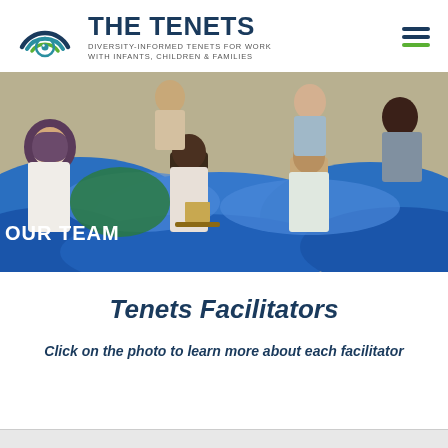THE TENETS — DIVERSITY-INFORMED TENETS FOR WORK WITH INFANTS, CHILDREN & FAMILIES
[Figure (photo): Colorful mural depicting diverse women and children against a blue wave background, with 'OUR TEAM' text overlay in white.]
Tenets Facilitators
Click on the photo to learn more about each facilitator